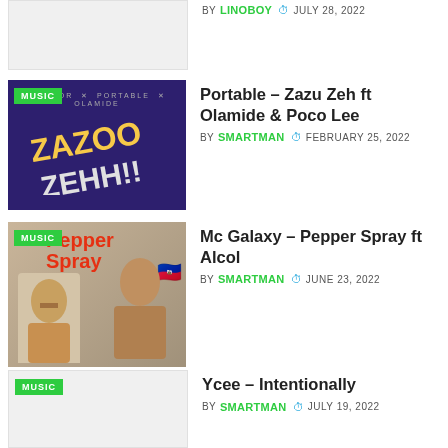[Figure (photo): Partial top entry thumbnail, cropped at top of page]
BY LINOBOY  JULY 28, 2022
[Figure (photo): Album art for Portable – Zazu Zeh ft Olamide & Poco Lee with MUSIC badge, dark purple background with colorful 3D text reading ZAZOO ZEHH]
Portable – Zazu Zeh ft Olamide & Poco Lee
BY SMARTMAN  FEBRUARY 25, 2022
[Figure (photo): Album art for Mc Galaxy – Pepper Spray ft Alcol with MUSIC badge, showing two people and red Pepper Spray text]
Mc Galaxy – Pepper Spray ft Alcol
BY SMARTMAN  JUNE 23, 2022
[Figure (photo): Thumbnail for Ycee – Intentionally with MUSIC badge]
Ycee – Intentionally
BY SMARTMAN  JULY 19, 2022